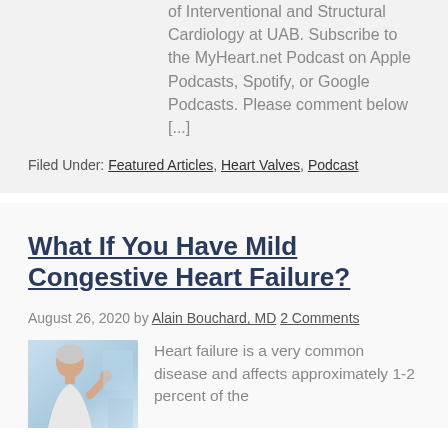of Interventional and Structural Cardiology at UAB. Subscribe to the MyHeart.net Podcast on Apple Podcasts, Spotify, or Google Podcasts. Please comment below [...]
Filed Under: Featured Articles, Heart Valves, Podcast
What If You Have Mild Congestive Heart Failure?
August 26, 2020 by Alain Bouchard, MD 2 Comments
[Figure (photo): Photo of an elderly woman patient, medical/clinical background in blue tones]
Heart failure is a very common disease and affects approximately 1-2 percent of the